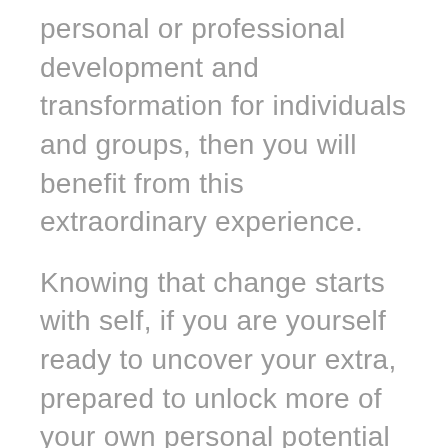personal or professional development and transformation for individuals and groups, then you will benefit from this extraordinary experience.
Knowing that change starts with self, if you are yourself ready to uncover your extra, prepared to unlock more of your own personal potential and raise your voice, and step into a new game or raise the benchmark, then join like-minded coaches, trainers and facilitators for this inspiring and results-focused encounter.